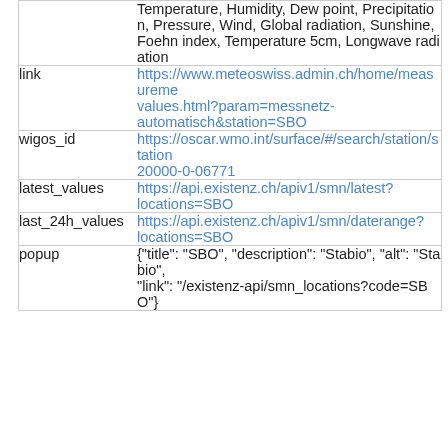|  | Temperature, Humidity, Dew point, Precipitation, Pressure, Wind, Global radiation, Sunshine, Foehn index, Temperature 5cm, Longwave radiation |
| link | https://www.meteoswiss.admin.ch/home/measureme values.html?param=messnetz-automatisch&station=SBO |
| wigos_id | https://oscar.wmo.int/surface/#/search/station/station 20000-0-06771 |
| latest_values | https://api.existenz.ch/apiv1/smn/latest?locations=SBO |
| last_24h_values | https://api.existenz.ch/apiv1/smn/daterange?locations=SBO |
| popup | {"title": "SBO", "description": "Stabio", "alt": "Stabio", "link": "/existenz-api/smn_locations?code=SBO"} |